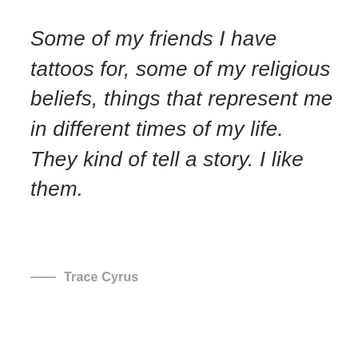Some of my friends I have tattoos for, some of my religious beliefs, things that represent me in different times of my life. They kind of tell a story. I like them.
— Trace Cyrus